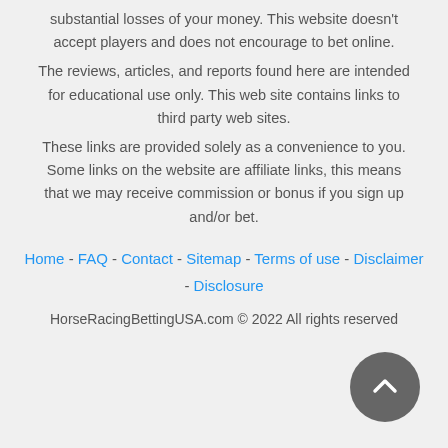substantial losses of your money. This website doesn't accept players and does not encourage to bet online.
The reviews, articles, and reports found here are intended for educational use only. This web site contains links to third party web sites.
These links are provided solely as a convenience to you. Some links on the website are affiliate links, this means that we may receive commission or bonus if you sign up and/or bet.
Home - FAQ - Contact - Sitemap - Terms of use - Disclaimer - Disclosure
HorseRacingBettingUSA.com © 2022 All rights reserved